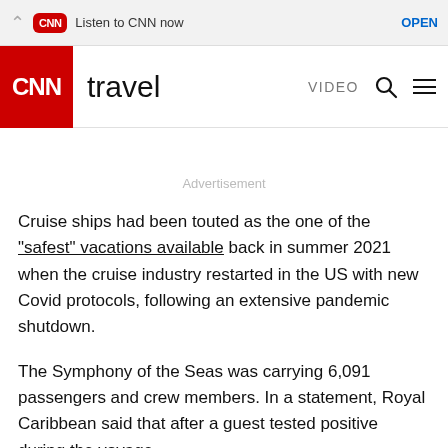CNN Logo | Listen to CNN now | OPEN
[Figure (logo): CNN Travel navigation bar with red CNN logo, 'travel' text, VIDEO link, search icon, and menu icon]
Advertisement
Cruise ships had been touted as the one of the "safest" vacations available back in summer 2021 when the cruise industry restarted in the US with new Covid protocols, following an extensive pandemic shutdown.
The Symphony of the Seas was carrying 6,091 passengers and crew members. In a statement, Royal Caribbean said that after a guest tested positive during the voyage